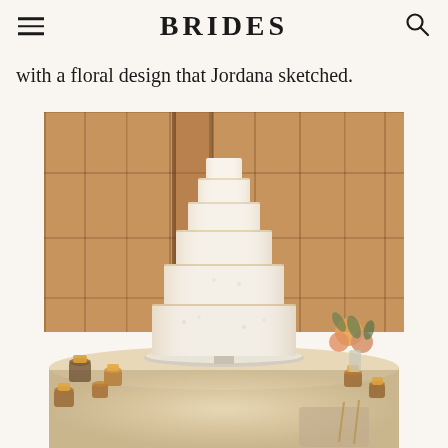BRIDES
with a floral design that Jordana sketched.
[Figure (photo): A tall six-tier white wedding cake on a silver cake stand, placed on a round table draped with a sparkly tablecloth. The table is surrounded by amber glass votive candles and a small floral arrangement with orange and pink flowers. The background features warm-toned wood paneling in a barn-style venue.]